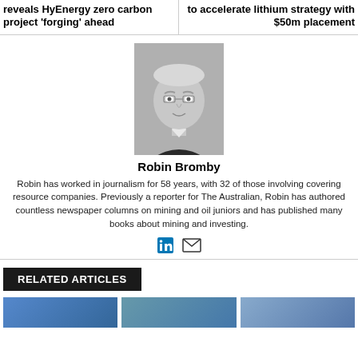reveals HyEnergy zero carbon project 'forging' ahead
to accelerate lithium strategy with $50m placement
[Figure (photo): Black and white headshot of Robin Bromby, an older man with white/grey hair wearing a suit]
Robin Bromby
Robin has worked in journalism for 58 years, with 32 of those involving covering resource companies. Previously a reporter for The Australian, Robin has authored countless newspaper columns on mining and oil juniors and has published many books about mining and investing.
[Figure (infographic): LinkedIn and email social media icons]
RELATED ARTICLES
[Figure (photo): Related article thumbnail image 1]
[Figure (photo): Related article thumbnail image 2]
[Figure (photo): Related article thumbnail image 3]